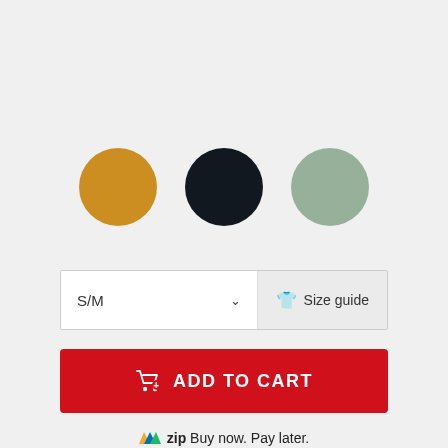[Figure (other): Three color swatches as circles: gold/mustard, dark navy/black, and sage green]
S/M
Size guide
ADD TO CART
zip Buy now. Pay later.
Make 4 interest-free payments of $14.99 AUD fortnightly with afterpay More info